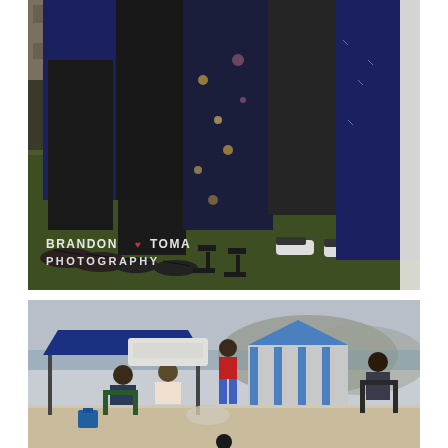[Figure (photo): Wedding photo showing lower bodies of several people standing on grass. People wearing formal attire including floral dress, navy blue outfit, black pants. Footwear visible including flip-flops, heeled sandals, sneakers. Watermark text reads 'BRANDON ♥ TOMA PHOTOGRAPHY' in white bold text.]
[Figure (photo): Beach scene with people gathered under a blue canopy tent. Additional striped camping tent visible in background. People sitting in chairs on sandy beach. Overcast sky visible. Mountains or hills in background.]